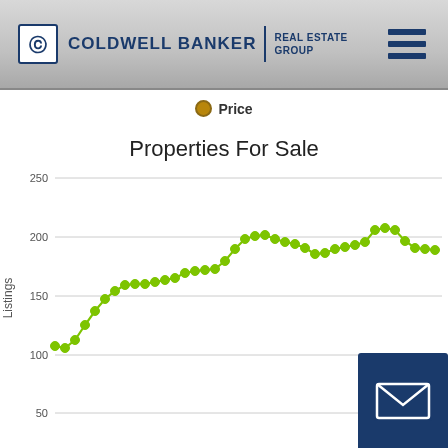[Figure (logo): Coldwell Banker Real Estate Group logo with hamburger menu icon]
[Figure (line-chart): Line chart showing Properties For Sale over time. Y-axis from 50 to 250 with gridlines at 50, 100, 150, 200, 250. Green line with dots showing a decline from ~226 to ~120 range with a dip to ~85 near end then recovery to ~120.]